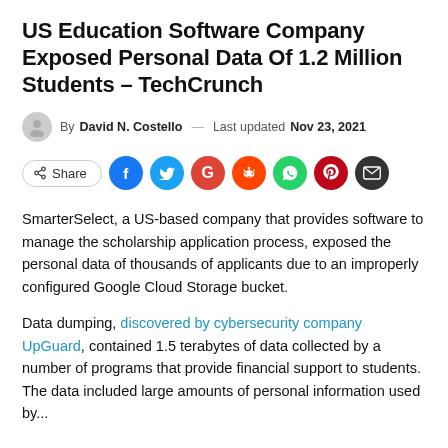US Education Software Company Exposed Personal Data Of 1.2 Million Students – TechCrunch
By David N. Costello — Last updated Nov 23, 2021
[Figure (other): Social share buttons row: Share, Facebook, Twitter, Google, Reddit, WhatsApp, Pinterest, Email]
SmarterSelect, a US-based company that provides software to manage the scholarship application process, exposed the personal data of thousands of applicants due to an improperly configured Google Cloud Storage bucket.
Data dumping, discovered by cybersecurity company UpGuard, contained 1.5 terabytes of data collected by a number of programs that provide financial support to students. The data included large amounts of personal information used by...